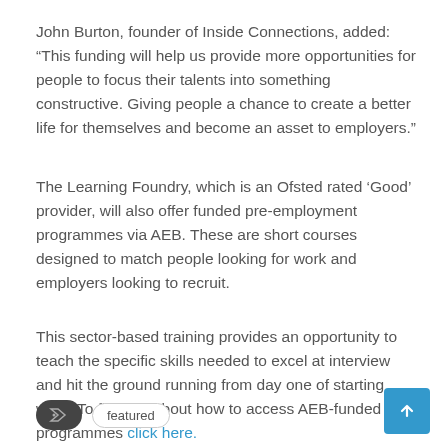John Burton, founder of Inside Connections, added: “This funding will help us provide more opportunities for people to focus their talents into something constructive. Giving people a chance to create a better life for themselves and become an asset to employers.”
The Learning Foundry, which is an Ofsted rated ‘Good’ provider, will also offer funded pre-employment programmes via AEB. These are short courses designed to match people looking for work and employers looking to recruit.
This sector-based training provides an opportunity to teach the specific skills needed to excel at interview and hit the ground running from day one of starting work. To find out about how to access AEB-funded programmes click here.